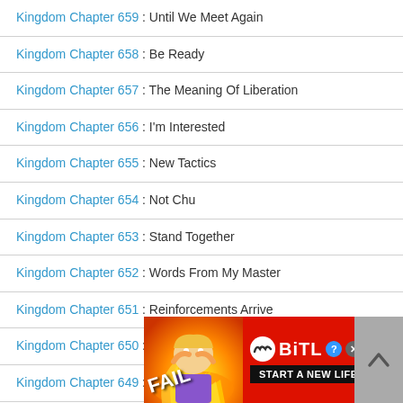Kingdom Chapter 659 : Until We Meet Again
Kingdom Chapter 658 : Be Ready
Kingdom Chapter 657 : The Meaning Of Liberation
Kingdom Chapter 656 : I'm Interested
Kingdom Chapter 655 : New Tactics
Kingdom Chapter 654 : Not Chu
Kingdom Chapter 653 : Stand Together
Kingdom Chapter 652 : Words From My Master
Kingdom Chapter 651 : Reinforcements Arrive
Kingdom Chapter 650 : Day Of Battle
Kingdom Chapter 649 : What Terms
Kingdom Chapter 648 : King's Problem
Kingdom Chapter 647 : Activity At Kanan
Kingdom Chapter 646 : [partially visible]
Kingdom Chapter 645 : [partially visible]
[Figure (screenshot): BitLife advertisement banner with FAIL text, animated character, flames, and 'START A NEW LIFE' tagline]